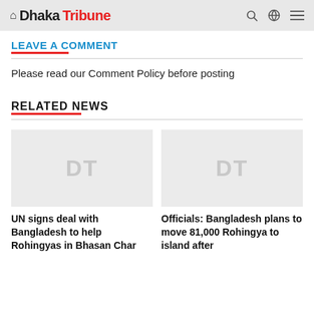Dhaka Tribune
LEAVE A COMMENT
Please read our Comment Policy before posting
RELATED NEWS
[Figure (other): Placeholder image with DT watermark for article: UN signs deal with Bangladesh to help Rohingyas in Bhasan Char]
UN signs deal with Bangladesh to help Rohingyas in Bhasan Char
[Figure (other): Placeholder image with DT watermark for article: Officials: Bangladesh plans to move 81,000 Rohingya to island after]
Officials: Bangladesh plans to move 81,000 Rohingya to island after